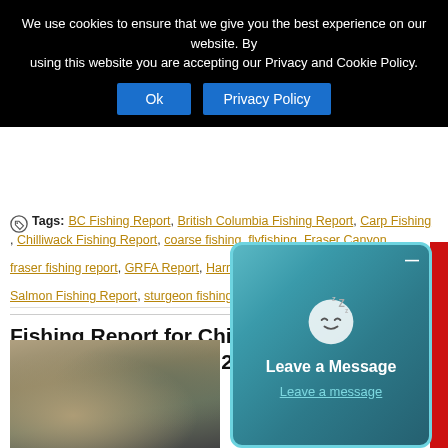We use cookies to ensure that we give you the best experience on our website. By using this website you are accepting our Privacy and Cookie Policy.
Ok | Privacy Policy
Tags: BC Fishing Report, British Columbia Fishing Report, Carp Fishing, Chilliwack Fishing Report, coarse fishing, flyfishing, Fraser Canyon, fraser fishing report, GRFA Report, Harrison River, Mission Fishing Report, Salmon Fishing Report, sturgeon fishing, Vancouver fishing report
Fishing Report for Chil... Vancouver – May 13, 2...
Posted by: dean
[Figure (photo): Photo of a fish near shallow water, person visible]
[Figure (infographic): Popup overlay with sleeping face emoji, Leave a Message text and Leave a message link on teal swirled background]